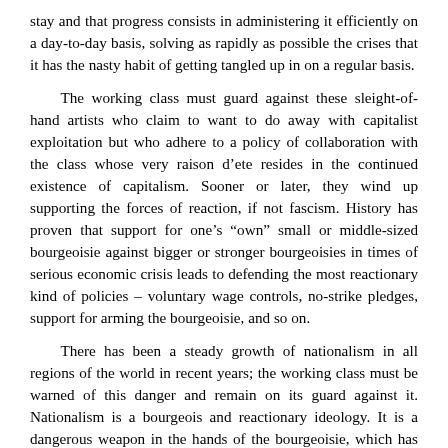stay and that progress consists in administering it efficiently on a day-to-day basis, solving as rapidly as possible the crises that it has the nasty habit of getting tangled up in on a regular basis.

The working class must guard against these sleight-of-hand artists who claim to want to do away with capitalist exploitation but who adhere to a policy of collaboration with the class whose very raison d’ete resides in the continued existence of capitalism. Sooner or later, they wind up supporting the forces of reaction, if not fascism. History has proven that support for one’s “own” small or middle-sized bourgeoisie against bigger or stronger bourgeoisies in times of serious economic crisis leads to defending the most reactionary kind of policies – voluntary wage controls, no-strike pledges, support for arming the bourgeoisie, and so on.

There has been a steady growth of nationalism in all regions of the world in recent years; the working class must be warned of this danger and remain on its guard against it. Nationalism is a bourgeois and reactionary ideology. It is a dangerous weapon in the hands of the bourgeoisie, which has made regular use of it, since the First World War, to sabotage the revolutionary struggle of the proletariat and the masses. Today, there is no getting away from the fact that the best defenders of nationalism in the